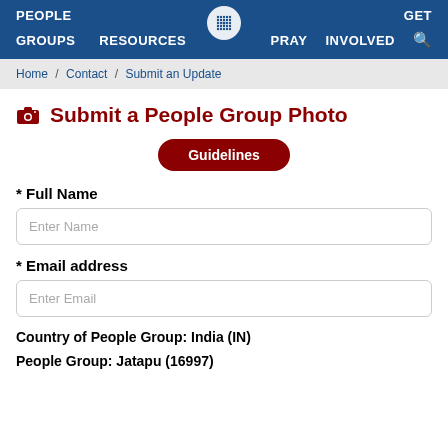PEOPLE  GROUPS  RESOURCES  GET PRAY INVOLVED
Home / Contact / Submit an Update
Submit a People Group Photo
Guidelines
* Full Name
Enter Name
* Email address
Enter Email
Country of People Group:  India (IN)
People Group:  Jatapu (16997)